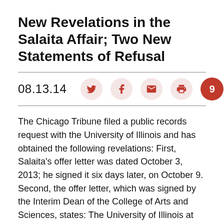New Revelations in the Salaita Affair; Two New Statements of Refusal
08.13.14
The Chicago Tribune filed a public records request with the University of Illinois and has obtained the following revelations: First, Salaita's offer letter was dated October 3, 2013; he signed it six days later, on October 9. Second, the offer letter, which was signed by the Interim Dean of the College of Arts and Sciences, states: The University of Illinois at Urbana-Champaign offers a wonderfully supportive community, and it has always taken a high interest in its newcomers. I feel sure that your…